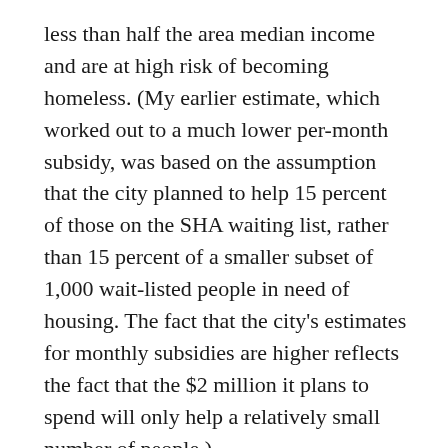less than half the area median income and are at high risk of becoming homeless. (My earlier estimate, which worked out to a much lower per-month subsidy, was based on the assumption that the city planned to help 15 percent of those on the SHA waiting list, rather than 15 percent of a smaller subset of 1,000 wait-listed people in need of housing. The fact that the city's estimates for monthly subsidies are higher reflects the fact that the $2 million it plans to spend will only help a relatively small number of people.)
Quite a few council members questioned the wisdom of moving forward with a housing assistance program without identifying a long-term funding source (the $2 million is a one-time windfall from the